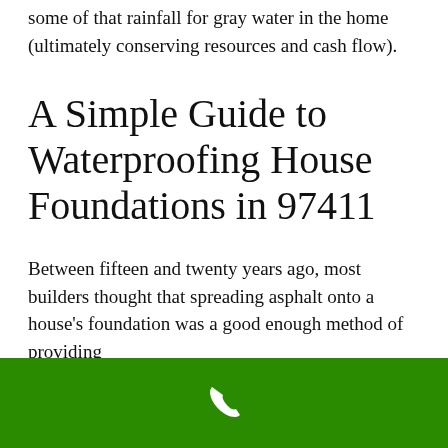some of that rainfall for gray water in the home (ultimately conserving resources and cash flow).
A Simple Guide to Waterproofing House Foundations in 97411
Between fifteen and twenty years ago, most builders thought that spreading asphalt onto a house’s foundation was a good enough method of providing protection for the foundation and the
[Figure (other): Green bar at the bottom with a white phone/call icon centered on it]